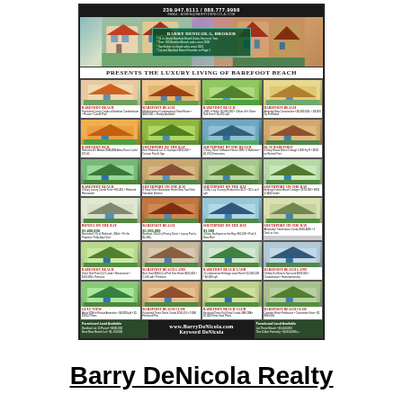[Figure (infographic): Barry DeNicola Realty advertisement showing luxury properties at Barefoot Beach. Contains phone numbers, agent bio, grid of property listings with photos and descriptions, and website information.]
Barry DeNicola Realty